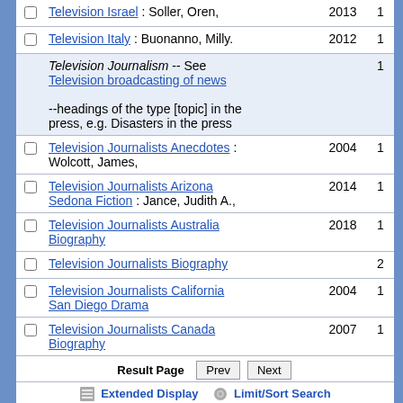|  | Title | Year | # |
| --- | --- | --- | --- |
| ☐ | Television Israel : Soller, Oren, | 2013 | 1 |
| ☐ | Television Italy : Buonanno, Milly. | 2012 | 1 |
|  | Television Journalism -- See Television broadcasting of news
--headings of the type [topic] in the press, e.g. Disasters in the press |  | 1 |
| ☐ | Television Journalists Anecdotes : Wolcott, James, | 2004 | 1 |
| ☐ | Television Journalists Arizona Sedona Fiction : Jance, Judith A., | 2014 | 1 |
| ☐ | Television Journalists Australia Biography | 2018 | 1 |
| ☐ | Television Journalists Biography |  | 2 |
| ☐ | Television Journalists California San Diego Drama | 2004 | 1 |
| ☐ | Television Journalists Canada Biography | 2007 | 1 |
Result Page  Prev  Next
Extended Display  Limit/Sort Search